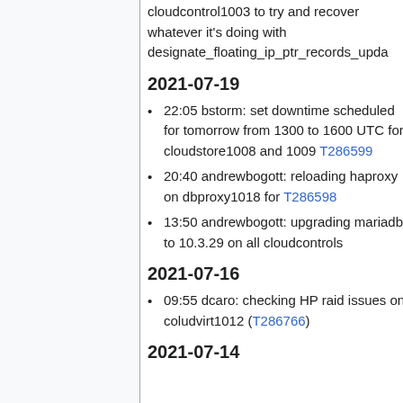cloudcontrol1003 to try and recover whatever it's doing with designate_floating_ip_ptr_records_upda
2021-07-19
22:05 bstorm: set downtime scheduled for tomorrow from 1300 to 1600 UTC for cloudstore1008 and 1009 T286599
20:40 andrewbogott: reloading haproxy on dbproxy1018 for T286598
13:50 andrewbogott: upgrading mariadb to 10.3.29 on all cloudcontrols
2021-07-16
09:55 dcaro: checking HP raid issues on coludvirt1012 (T286766)
2021-07-14